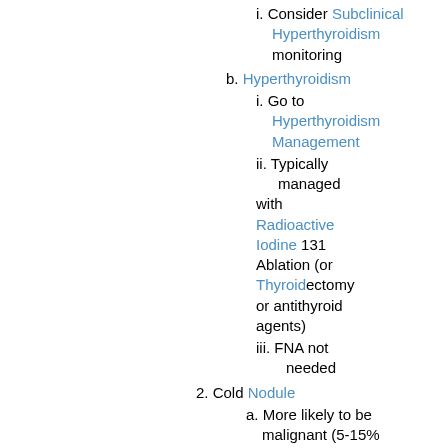i. Consider Subclinical Hyperthyroidism monitoring
b. Hyperthyroidism
i. Go to Hyperthyroidism Management
ii. Typically managed with Radioactive Iodine 131 Ablation (or Thyroidectomy or antithyroid agents)
iii. FNA not needed
2. Cold Nodule
a. More likely to be malignant (5-15% of cases)
b. Go to Step 4
E. Step 4: Thyroid Ultrasound
1. Benign appearing Nodule <1 cm with negative clinical history